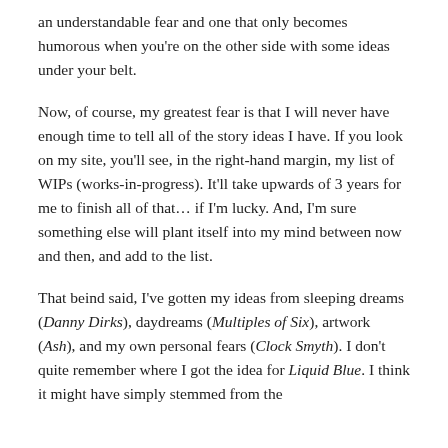an understandable fear and one that only becomes humorous when you're on the other side with some ideas under your belt.
Now, of course, my greatest fear is that I will never have enough time to tell all of the story ideas I have. If you look on my site, you'll see, in the right-hand margin, my list of WIPs (works-in-progress). It'll take upwards of 3 years for me to finish all of that… if I'm lucky. And, I'm sure something else will plant itself into my mind between now and then, and add to the list.
That beind said, I've gotten my ideas from sleeping dreams (Danny Dirks), daydreams (Multiples of Six), artwork (Ash), and my own personal fears (Clock Smyth). I don't quite remember where I got the idea for Liquid Blue. I think it might have simply stemmed from the